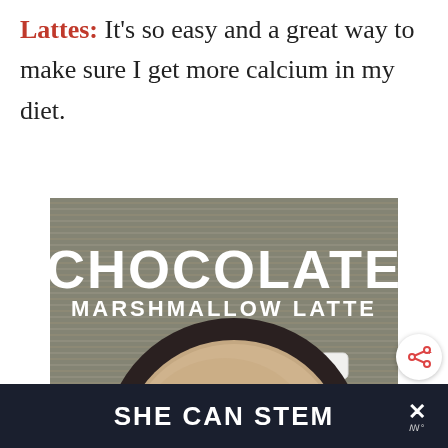Lattes: It's so easy and a great way to make sure I get more calcium in my diet.
[Figure (photo): Overhead photo of a chocolate marshmallow latte in a dark mug on a woven mat background, with mini marshmallows scattered around. Bold white text reads 'CHOCOLATE MARSHMALLOW LATTE'.]
SHE CAN STEM